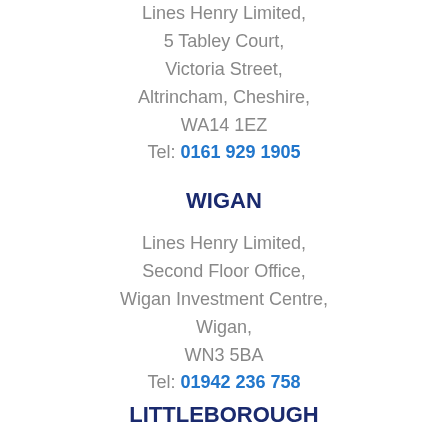Lines Henry Limited,
5 Tabley Court,
Victoria Street,
Altrincham, Cheshire,
WA14 1EZ
Tel: 0161 929 1905
WIGAN
Lines Henry Limited,
Second Floor Office,
Wigan Investment Centre,
Wigan,
WN3 5BA
Tel: 01942 236 758
LITTLEBOROUGH